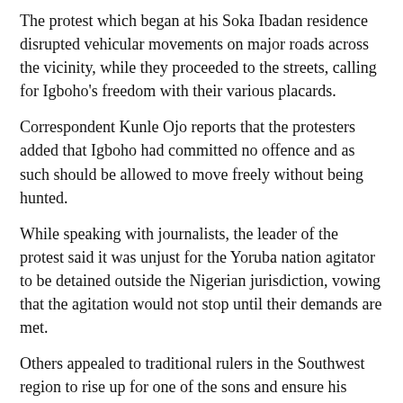The protest which began at his Soka Ibadan residence disrupted vehicular movements on major roads across the vicinity, while they proceeded to the streets, calling for Igboho's freedom with their various placards.
Correspondent Kunle Ojo reports that the protesters added that Igboho had committed no offence and as such should be allowed to move freely without being hunted.
While speaking with journalists, the leader of the protest said it was unjust for the Yoruba nation agitator to be detained outside the Nigerian jurisdiction, vowing that the agitation would not stop until their demands are met.
Others appealed to traditional rulers in the Southwest region to rise up for one of the sons and ensure his unconditional release from the Benin Republic.
They called on southwest governors to equally rise up and fight for the people that put them in position.